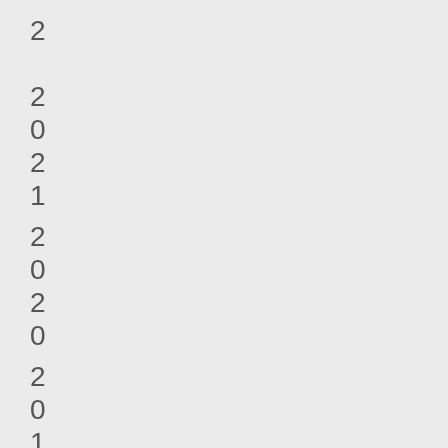2
2
0
2
1
2
0
2
0
2
0
1
9
2
0
1
8